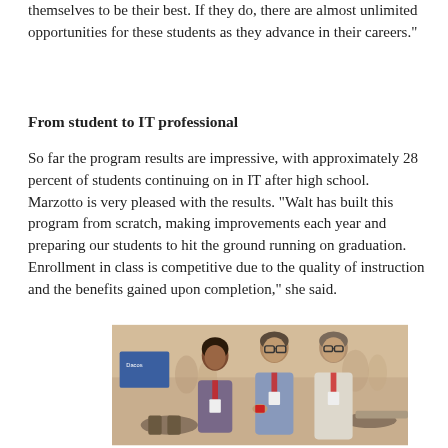themselves to be their best. If they do, there are almost unlimited opportunities for these students as they advance in their careers."
From student to IT professional
So far the program results are impressive, with approximately 28 percent of students continuing on in IT after high school. Marzotto is very pleased with the results. "Walt has built this program from scratch, making improvements each year and preparing our students to hit the ground running on graduation. Enrollment in class is competitive due to the quality of instruction and the benefits gained upon completion," she said.
[Figure (photo): Three people standing together at an indoor event/conference, wearing name badge lanyards. A woman on the left, a taller man in the middle holding something small, and a man on the right. Tables and other attendees visible in the background.]